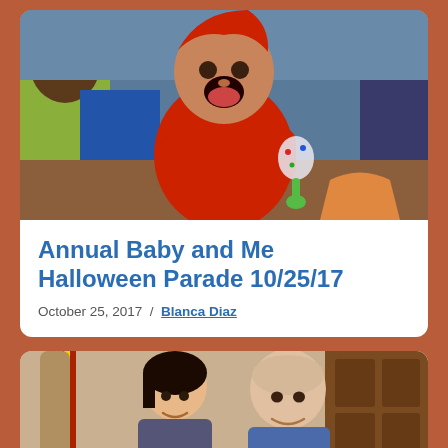[Figure (photo): Baby dressed in a red devil costume holding a toy maraca, yawning, surrounded by adults in colorful clothing]
Annual Baby and Me Halloween Parade 10/25/17
October 25, 2017  /  Blanca Diaz
[Figure (photo): A young woman and an older bald man smiling together indoors, with a Spanish flag and ornate wooden door visible in background]